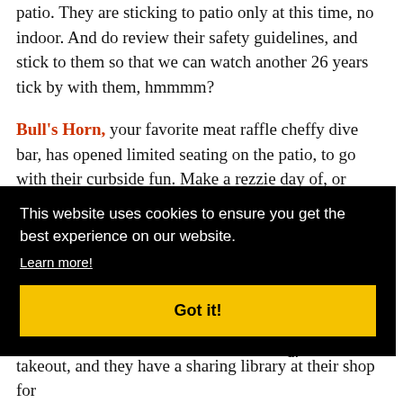patio. They are sticking to patio only at this time, no indoor. And do review their safety guidelines, and stick to them so that we can watch another 26 years tick by with them, hmmmm?
Bull's Horn, your favorite meat raffle cheffy dive bar, has opened limited seating on the patio, to go with their curbside fun. Make a rezzie day of, or within 7 days of your call for a 90 minute hang. Pull up to the kitchen door on 34th, daily from 3-9pm, and Sa-Su open at 11am.
...that ...till ...if you're ...ed.
takeout, and they have a sharing library at their shop for
[Figure (other): Cookie consent overlay banner with black background. Text reads: 'This website uses cookies to ensure you get the best experience on our website.' with a 'Learn more!' underlined link, and a yellow 'Got it!' button.]